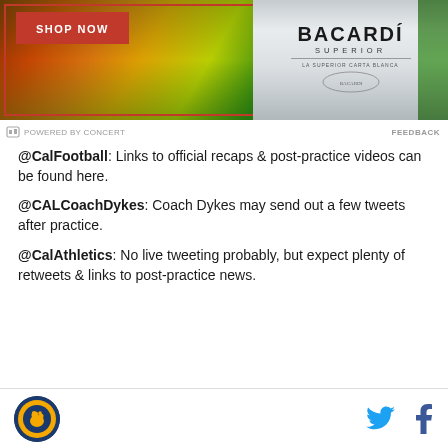[Figure (photo): Bacardi Superior rum advertisement banner with tropical fruits and a Bacardi bottle, featuring a red 'SHOP NOW' button]
POWERED BY CONCERT   FEEDBACK
@CalFootball: Links to official recaps & post-practice videos can be found here.
@CALCoachDykes: Coach Dykes may send out a few tweets after practice.
@CalAthletics: No live tweeting probably, but expect plenty of retweets & links to post-practice news.
Cal Athletics logo, Twitter icon, Facebook icon